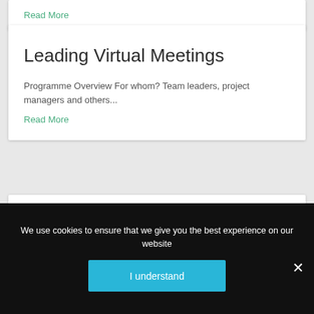Read More
Leading Virtual Meetings
Programme Overview For whom? Team leaders, project managers and others...
Read More
Leading your team through times of stress
We use cookies to ensure that we give you the best experience on our website
I understand